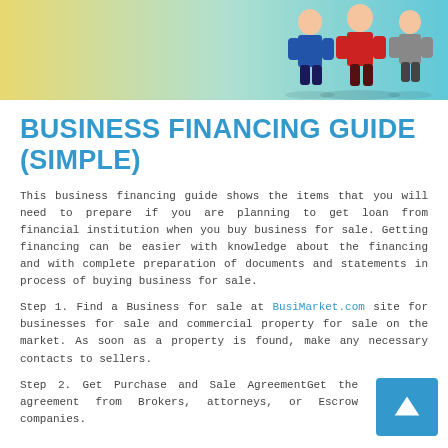[Figure (illustration): Decorative header image with gradient background (yellow to teal) showing cartoon business figures/people at the top of the page]
BUSINESS FINANCING GUIDE (SIMPLE)
This business financing guide shows the items that you will need to prepare if you are planning to get loan from financial institution when you buy business for sale. Getting financing can be easier with knowledge about the financing and with complete preparation of documents and statements in process of buying business for sale.
Step 1. Find a Business for sale at BusiMarket.com site for businesses for sale and commercial property for sale on the market. As soon as a property is found, make any necessary contacts to sellers.
Step 2. Get Purchase and Sale AgreementGet the agreement from Brokers, attorneys, or Escrow companies.